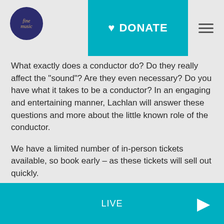[Figure (logo): Dark blue circular logo with stylized text, Fine Music style branding]
[Figure (other): Teal DONATE button with heart icon and hamburger menu icon]
What exactly does a conductor do? Do they really affect the "sound"? Are they even necessary? Do you have what it takes to be a conductor? In an engaging and entertaining manner, Lachlan will answer these questions and more about the little known role of the conductor.
We have a limited number of in-person tickets available, so book early – as these tickets will sell out quickly.
By purchasing a ticket to this event you are providing the support needed to keep us on-air.
Presenter – Lachlan Snow
LIVE ▶